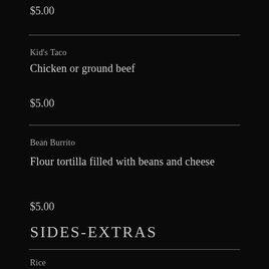$5.00
Kid's Taco
Chicken or ground beef
$5.00
Bean Burrito
Flour tortilla filled with beans and cheese
$5.00
SIDES-EXTRAS
Rice
8 oz